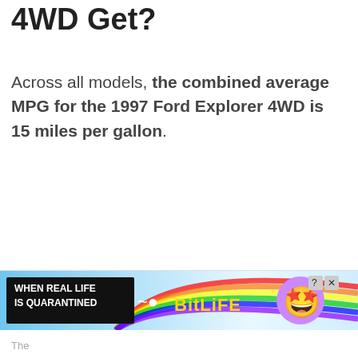4WD Get?
Across all models, the combined average MPG for the 1997 Ford Explorer 4WD is 15 miles per gallon.
[Figure (other): Advertisement banner for BitLife mobile game: 'WHEN REAL LIFE IS QUARANTINED' text with rainbow gradient background, BitLife logo in yellow, and emoji character with star eyes and mask.]
The...